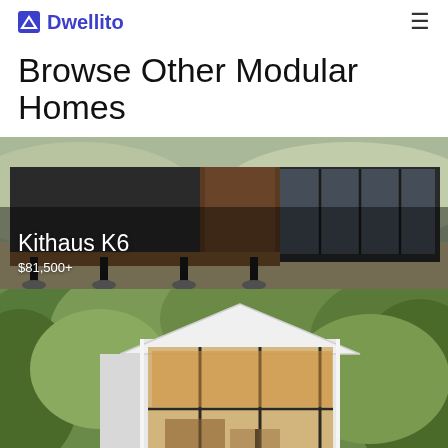Dwellito
Browse Other Modular Homes
[Figure (photo): Modular home exterior photo — Kithaus K6, a dark metal-clad prefab unit on stilts with large glass sliding doors and wood deck, arid landscape background. Text overlay: 'Kithaus K6' and '$81,500+']
[Figure (photo): Second modular home photo — a white-framed tiny house with large glass facade/greenhouse-style front, surrounded by lush green trees and foliage.]